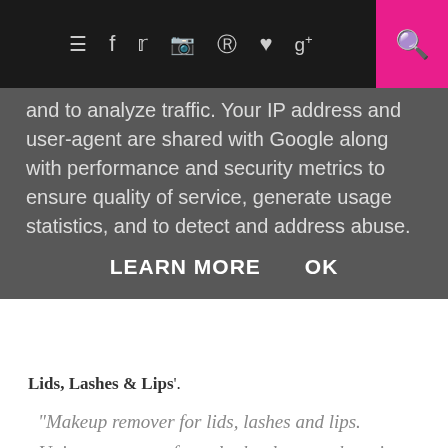≡  f  𝕥  📷  𝗽  ♥  g+  🔍
and to analyze traffic. Your IP address and user-agent are shared with Google along with performance and security metrics to ensure quality of service, generate usage statistics, and to detect and address abuse.
LEARN MORE   OK
Lids, Lashes & Lips'.
"Makeup remover for lids, lashes and lips. Unique, two-way formula that loosens the grip, then speeds the departure of the most persistent, eye makeups, mascara and lipsticks. Ophthalmologist tested. Suitable for contact lens wearers."